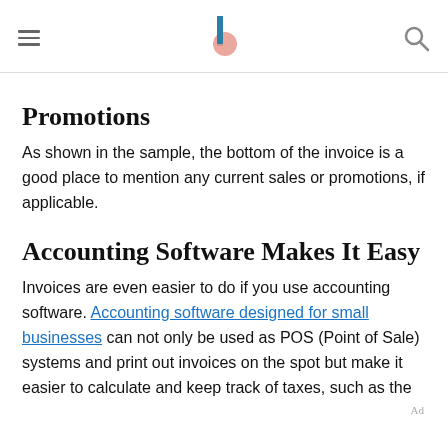[hamburger menu] [logo] [search icon]
Promotions
As shown in the sample, the bottom of the invoice is a good place to mention any current sales or promotions, if applicable.
Accounting Software Makes It Easy
Invoices are even easier to do if you use accounting software. Accounting software designed for small businesses can not only be used as POS (Point of Sale) systems and print out invoices on the spot but make it easier to calculate and keep track of taxes, such as the
Ad